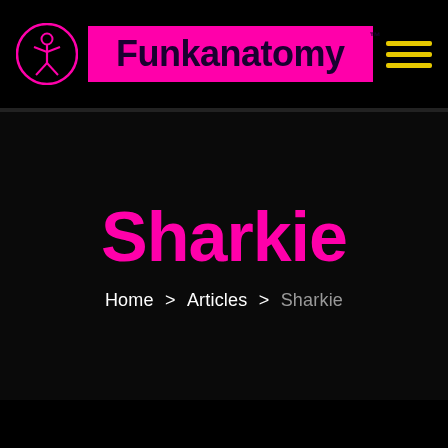[Figure (logo): Funkanatomy logo: circular pink icon with stylized figure and pink brand name on magenta background with TM mark, hamburger menu icon in yellow on the right]
Sharkie
Home > Articles > Sharkie